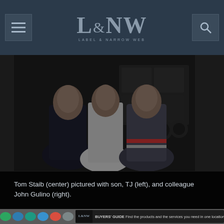L&NW LABEL & NARROW WEB
[Figure (photo): Three men standing together in front of industrial printing equipment in a workshop setting. Dark/dimly lit photo.]
Tom Staib (center) pictured with son, TJ (left), and colleague John Gulino (right).
[Figure (other): Social media sharing buttons (green, blue, teal, light blue, red, gray bubbles) and L&NW Buyers Guide banner advertisement at the bottom of the page]